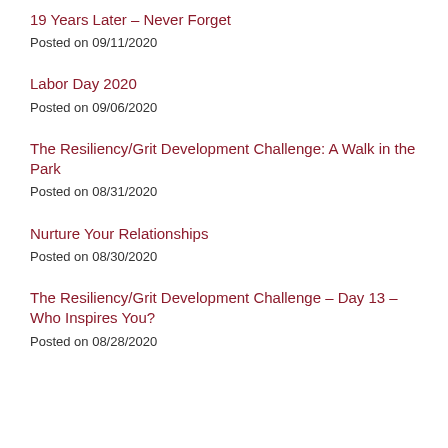19 Years Later – Never Forget
Posted on 09/11/2020
Labor Day 2020
Posted on 09/06/2020
The Resiliency/Grit Development Challenge: A Walk in the Park
Posted on 08/31/2020
Nurture Your Relationships
Posted on 08/30/2020
The Resiliency/Grit Development Challenge – Day 13 – Who Inspires You?
Posted on 08/28/2020